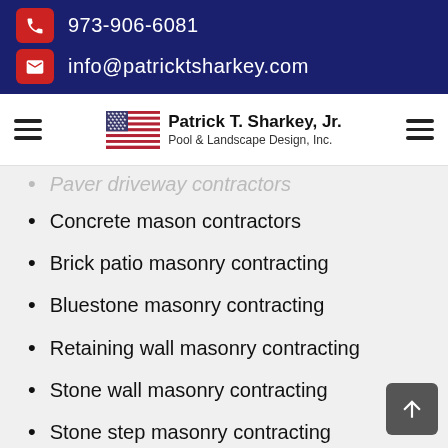973-906-6081
info@patricktsharkey.com
[Figure (logo): Patrick T. Sharkey, Jr. Pool & Landscape Design, Inc. logo with American flag]
Paver driveway contractors (partial, clipped)
Concrete mason contractors
Brick patio masonry contracting
Bluestone masonry contracting
Retaining wall masonry contracting
Stone wall masonry contracting
Stone step masonry contracting
Stonework masonry construction